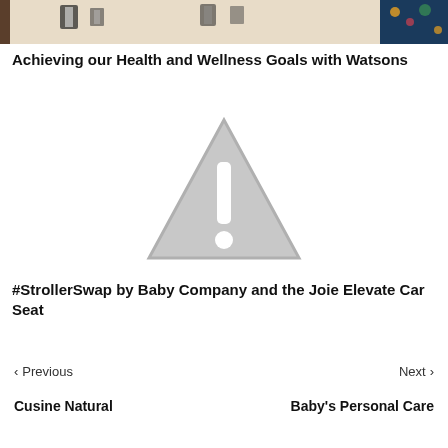[Figure (photo): Top portion of a photo showing people holding products, appears to be a shopping/wellness context]
Achieving our Health and Wellness Goals with Watsons
[Figure (other): Broken image placeholder — grey triangle with exclamation mark warning icon]
#StrollerSwap by Baby Company and the Joie Elevate Car Seat
< Previous   Next >
Cusine Natural   Baby's Personal Care